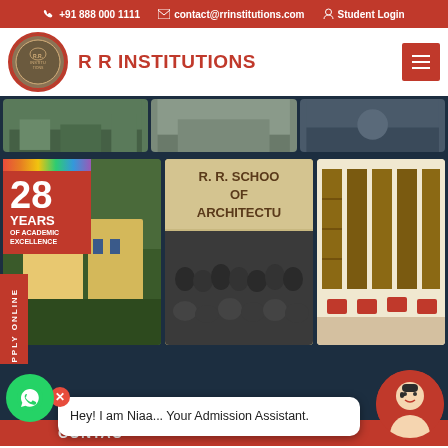+91 888 000 1111 | contact@rrinstitutions.com | Student Login
[Figure (logo): R R Institutions circular logo with emblem]
R R INSTITUTIONS
[Figure (photo): Grid of campus and school photos including building, R.R. School of Architecture sign with students, and library. Badge showing 28 Years of Academic Excellence.]
Hey! I am Niaa... Your Admission Assistant.
APPLY ONLINE
CONTAC